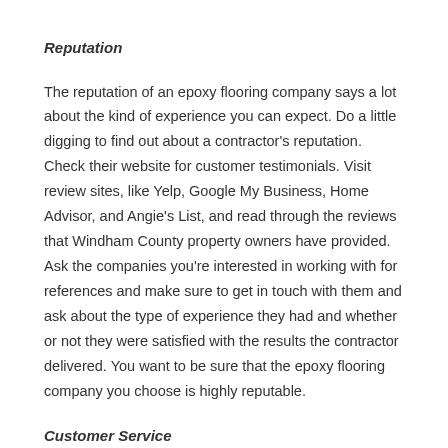Reputation
The reputation of an epoxy flooring company says a lot about the kind of experience you can expect. Do a little digging to find out about a contractor's reputation. Check their website for customer testimonials. Visit review sites, like Yelp, Google My Business, Home Advisor, and Angie's List, and read through the reviews that Windham County property owners have provided. Ask the companies you're interested in working with for references and make sure to get in touch with them and ask about the type of experience they had and whether or not they were satisfied with the results the contractor delivered. You want to be sure that the epoxy flooring company you choose is highly reputable.
Customer Service